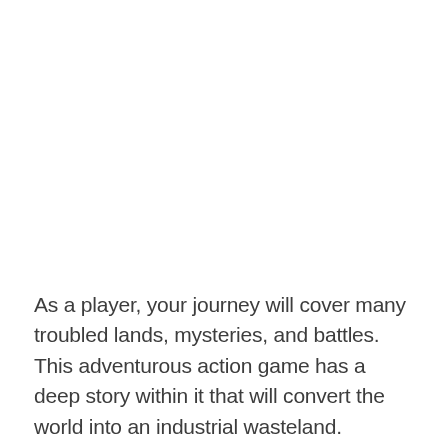As a player, your journey will cover many troubled lands, mysteries, and battles. This adventurous action game has a deep story within it that will convert the world into an industrial wasteland.